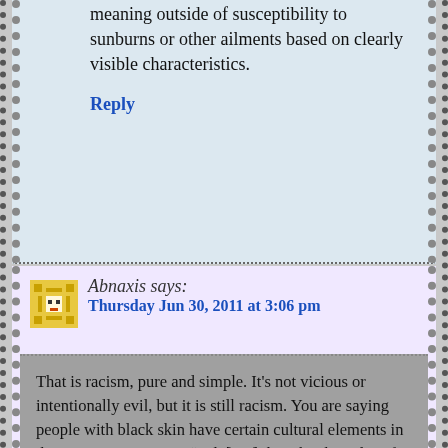meaning outside of susceptibility to sunburns or other ailments based on clearly visible characteristics.
Reply
Abnaxis says:
Thursday Jun 30, 2011 at 3:06 pm
That is racism, pure and simple. It's not vicious or intentionally evil, but it is still racism. You are saying people with black skin have certain cultural elements in their person "" you are “judg[ing] them by the color of their skin"□instead of “the content of their character."□
I'm having trouble putting good words to this. Let me see...